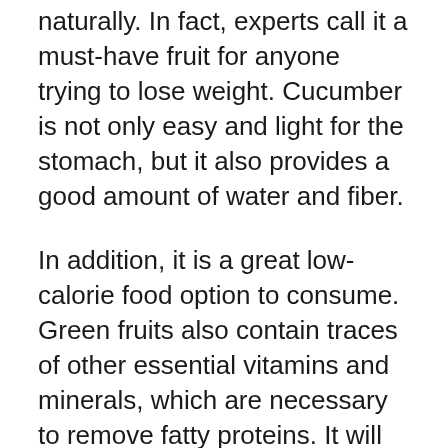naturally. In fact, experts call it a must-have fruit for anyone trying to lose weight. Cucumber is not only easy and light for the stomach, but it also provides a good amount of water and fiber.
In addition, it is a great low-calorie food option to consume. Green fruits also contain traces of other essential vitamins and minerals, which are necessary to remove fatty proteins. It will also be interesting for many people to know that the cucumber diet accelerates the burning of fat.
3. Provides relief in joint pain